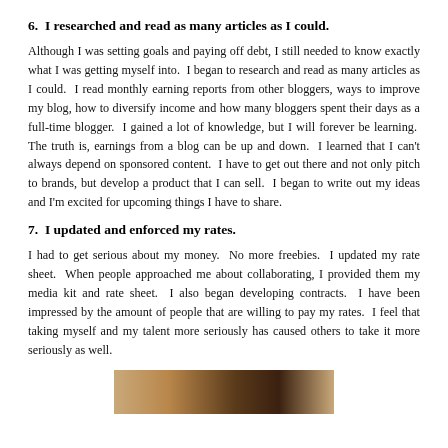6.  I researched and read as many articles as I could.
Although I was setting goals and paying off debt, I still needed to know exactly what I was getting myself into.  I began to research and read as many articles as I could.  I read monthly earning reports from other bloggers, ways to improve my blog, how to diversify income and how many bloggers spent their days as a full-time blogger.  I gained a lot of knowledge, but I will forever be learning.  The truth is, earnings from a blog can be up and down.  I learned that I can't always depend on sponsored content.  I have to get out there and not only pitch to brands, but develop a product that I can sell.  I began to write out my ideas and I'm excited for upcoming things I have to share.
7.  I updated and enforced my rates.
I had to get serious about my money.  No more freebies.  I updated my rate sheet.  When people approached me about collaborating, I provided them my media kit and rate sheet.  I also began developing contracts.  I have been impressed by the amount of people that are willing to pay my rates.  I feel that taking myself and my talent more seriously has caused others to take it more seriously as well.
[Figure (photo): Partial photo visible at bottom of page, showing what appears to be a person or scene with warm brown tones]